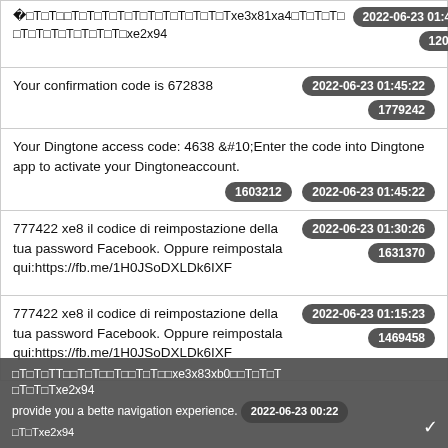 T T  T T T T T T Txe2x94 | 2022-06-23 01:45:22 | 1209439
Your confirmation code is 672838 | 2022-06-23 01:45:22 | 1779242
Your Dingtone access code: 4638 &#10;Enter the code into Dingtone app to activate your Dingtoneaccount. | 1603212 | 2022-06-23 01:45:22
777422 xe8 il codice di reimpostazione della tua password Facebook. Oppure reimpostala qui:https://fb.me/1H0JSoDXLDk6IXF | 2022-06-23 01:30:26 | 1631370
777422 xe8 il codice di reimpostazione della tua password Facebook. Oppure reimpostala qui:https://fb.me/1H0JSoDXLDk6IXF | 2022-06-23 01:15:23 | 1469458
Cookie banner: This website uses cookies... xe3x83xb0 | xe2x94 | 2022-06-23 00:22